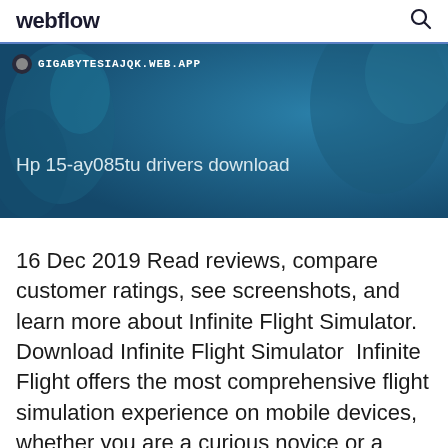webflow
[Figure (screenshot): Blue banner showing a website URL bar with GIGABYTESIAJQK.WEB.APP and page title 'Hp 15-ay085tu drivers download' on a dark teal background]
16 Dec 2019 Read reviews, compare customer ratings, see screenshots, and learn more about Infinite Flight Simulator. Download Infinite Flight Simulator  Infinite Flight offers the most comprehensive flight simulation experience on mobile devices, whether you are a curious novice or a decorated